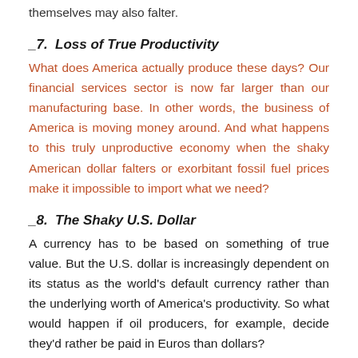themselves may also falter.
_7.  Loss of True Productivity
What does America actually produce these days? Our financial services sector is now far larger than our manufacturing base. In other words, the business of America is moving money around. And what happens to this truly unproductive economy when the shaky American dollar falters or exorbitant fossil fuel prices make it impossible to import what we need?
_8.  The Shaky U.S. Dollar
A currency has to be based on something of true value. But the U.S. dollar is increasingly dependent on its status as the world's default currency rather than the underlying worth of America's productivity. So what would happen if oil producers, for example, decide they'd rather be paid in Euros than dollars?